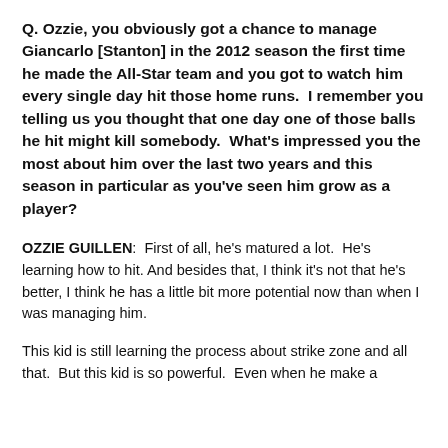Q. Ozzie, you obviously got a chance to manage Giancarlo [Stanton] in the 2012 season the first time he made the All-Star team and you got to watch him every single day hit those home runs.  I remember you telling us you thought that one day one of those balls he hit might kill somebody.  What's impressed you the most about him over the last two years and this season in particular as you've seen him grow as a player?
OZZIE GUILLEN:  First of all, he's matured a lot.  He's learning how to hit. And besides that, I think it's not that he's better, I think he has a little bit more potential now than when I was managing him.
This kid is still learning the process about strike zone and all that.  But this kid is so powerful.  Even when he make a